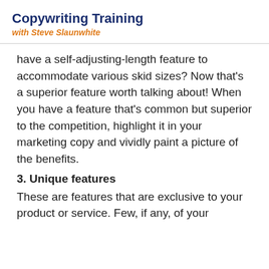Copywriting Training
with Steve Slaunwhite
have a self-adjusting-length feature to accommodate various skid sizes? Now that’s a superior feature worth talking about! When you have a feature that’s common but superior to the competition, highlight it in your marketing copy and vividly paint a picture of the benefits.
3. Unique features
These are features that are exclusive to your product or service. Few, if any, of your